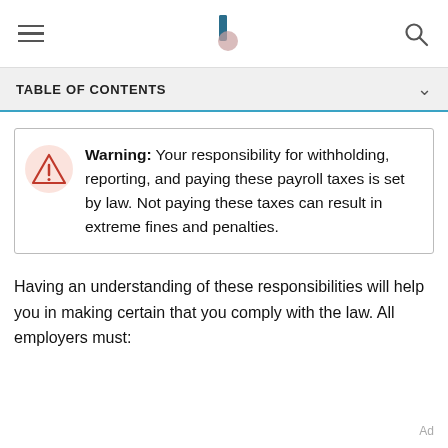TABLE OF CONTENTS
Warning: Your responsibility for withholding, reporting, and paying these payroll taxes is set by law. Not paying these taxes can result in extreme fines and penalties.
Having an understanding of these responsibilities will help you in making certain that you comply with the law. All employers must:
Ad